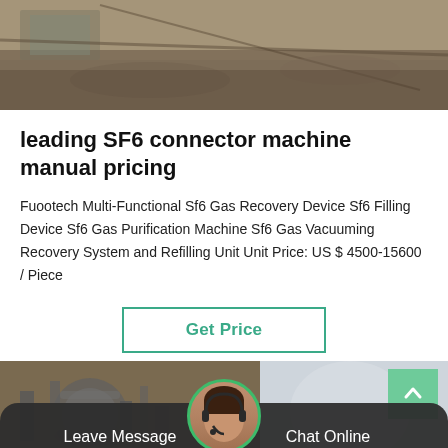[Figure (photo): Top image showing cables and gravel/rocks on the ground, industrial outdoor setting]
leading SF6 connector machine manual pricing
Fuootech Multi-Functional Sf6 Gas Recovery Device Sf6 Filling Device Sf6 Gas Purification Machine Sf6 Gas Vacuuming Recovery System and Refilling Unit Unit Price: US $ 4500-15600 / Piece
[Figure (screenshot): Get Price button with teal/green border]
[Figure (photo): Bottom image showing industrial pipe/valve equipment and a chat support avatar with Leave Message and Chat Online bar]